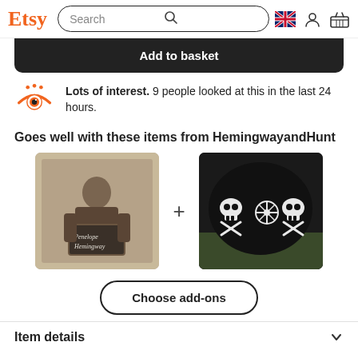Etsy | Search | UK flag icon | User icon | Basket icon
Add to basket
Lots of interest. 9 people looked at this in the last 24 hours.
Goes well with these items from HemingwayandHunt
[Figure (photo): Two product images side by side with a plus sign between them. Left: sepia-toned old photograph of a young man holding a chalkboard sign reading 'Penelope Hemingway'. Right: black knit hat/beanie with white skull and crossbones Fair Isle pattern.]
Choose add-ons
Item details